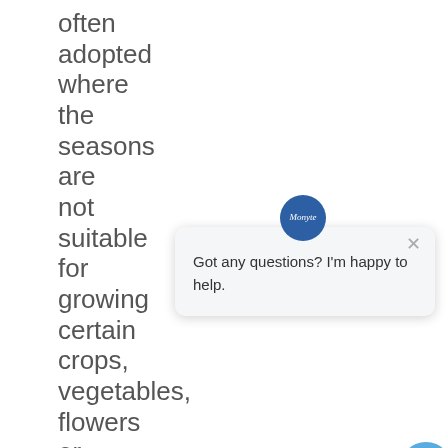often adopted where the seasons are not suitable for growing certain crops, vegetables, flowers or fruits. With the development
[Figure (other): A chat popup widget with a circular avatar showing 'Monyte' text in blue, an X close button, and the message 'Got any questions? I'm happy to help.' Below is a circular blue chat button with a chat icon.]